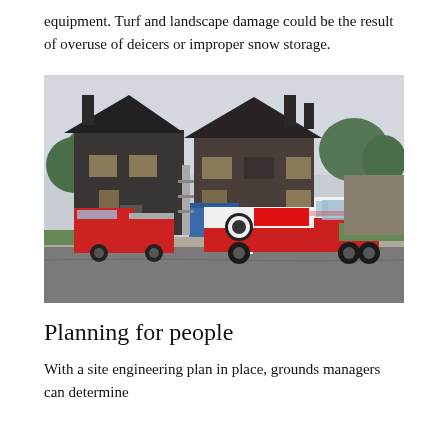equipment. Turf and landscape damage could be the result of overuse of deicers or improper snow storage.
[Figure (photo): Two fire-damaged houses on a residential street with two utility/emergency trucks (red and white) parked in front, orange traffic cones visible on the road, trees in background, overcast sky.]
Planning for people
With a site engineering plan in place, grounds managers can determine